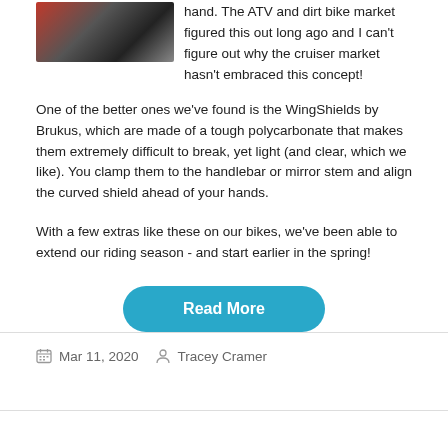[Figure (photo): Motorcycle engine close-up photo]
hand. The ATV and dirt bike market figured this out long ago and I can't figure out why the cruiser market hasn't embraced this concept!
One of the better ones we've found is the WingShields by Brukus, which are made of a tough polycarbonate that makes them extremely difficult to break, yet light (and clear, which we like). You clamp them to the handlebar or mirror stem and align the curved shield ahead of your hands.
With a few extras like these on our bikes, we've been able to extend our riding season - and start earlier in the spring!
Read More
Mar 11, 2020   Tracey Cramer